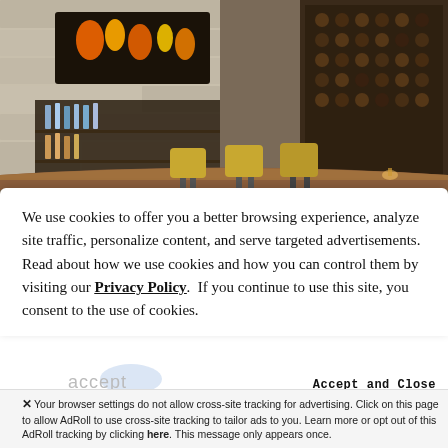[Figure (photo): Interior photo of a modern hotel bar with warm yellow/gold upholstered bar stools, a long wooden bar counter, backlit wine rack, fireplace on the wall, and bar shelves stocked with liquor bottles.]
We use cookies to offer you a better browsing experience, analyze site traffic, personalize content, and serve targeted advertisements.  Read about how we use cookies and how you can control them by visiting our Privacy Policy.  If you continue to use this site, you consent to the use of cookies.
Accept and Close
Your browser settings do not allow cross-site tracking for advertising. Click on this page to allow AdRoll to use cross-site tracking to tailor ads to you. Learn more or opt out of this AdRoll tracking by clicking here. This message only appears once.